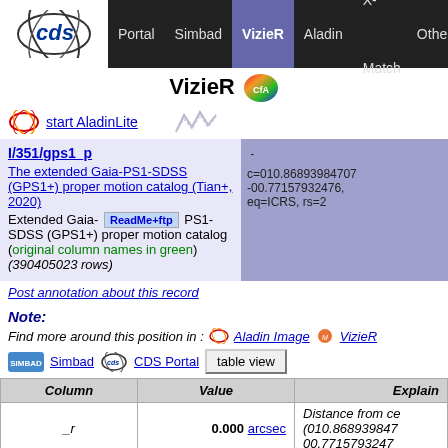Portal | Simbad | VizieR | Aladin | X-Match | Othe
VizieR CfA
start AladinLite
|  |  |
| --- | --- |
| I/351/gps1_p | The extended Gaia-PS1-SDSS (GPS1+) proper motion catalog (Tian+, 2020) Extended Gaia- PS1-SDSS (GPS1+) proper motion catalog (original column names in green) (390405023 rows) | c=010.86893984707 -00.77157932476, eq=ICRS, rs=2 |
Post annotation about this record
Note:
Find more around this position in : Aladin Image VizieR
Simbad CDS Portal table view
| Column | Value | Explain |
| --- | --- | --- |
| _r | 0.000 arcsec | Distance from ce (010.868939847 00.771579324... |